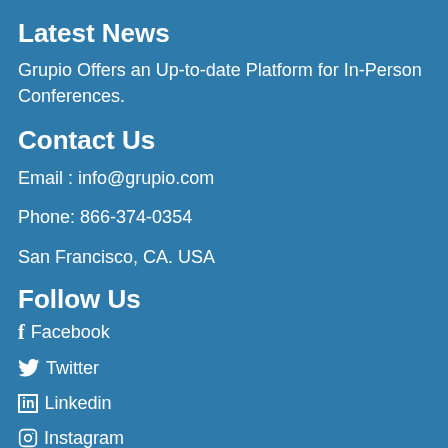Latest News
Grupio Offers an Up-to-date Platform for In-Person Conferences.
Contact Us
Email : info@grupio.com
Phone: 866-374-0354
San Francisco, CA. USA
Follow Us
Facebook
Twitter
Linkedin
Instagram